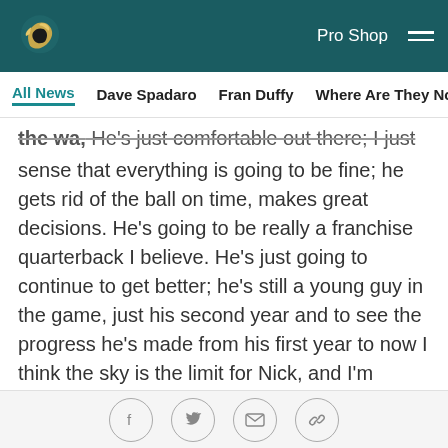Philadelphia Eagles website header with logo, Pro Shop link, and hamburger menu
All News   Dave Spadaro   Fran Duffy   Where Are They Now?   Pu
the wa, He's just comfortable out there; I just have a sense that everything is going to be fine; he gets rid of the ball on time, makes great decisions. He's going to be really a franchise quarterback I believe. He's just going to continue to get better; he's still a young guy in the game, just his second year and to see the progress he's made from his first year to now I think the sky is the limit for Nick, and I'm happy for him and the way he's playing."
On his individual play and the overall play of the Eagles defense recently: "My play, it all starts with the guys up front; Cedric Thornton, Fletcher Cox, Bennie